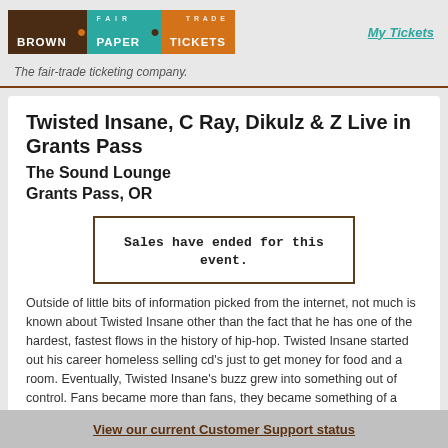[Figure (logo): Brown Paper Tickets logo with three colored blocks: brown (BROWN), teal (PAPER), orange (TICKETS)]
My Tickets
The fair-trade ticketing company.
Twisted Insane, C Ray, Dikulz & Z Live in Grants Pass
The Sound Lounge
Grants Pass, OR
Sales have ended for this event.
Outside of little bits of information picked from the internet, not much is known about Twisted Insane other than the fact that he has one of the hardest, fastest flows in the history of hip-hop. Twisted Insane started out his career homeless selling cd's just to get money for food and a room. Eventually, Twisted Insane's buzz grew into something out of control. Fans became more than fans, they became something of a cult. Not "just another rapper" Twisted Insane is the future and apparently those who set the standards agree. Twisted Insane's flow and rhymes are so brutal
View our current Customer Support status